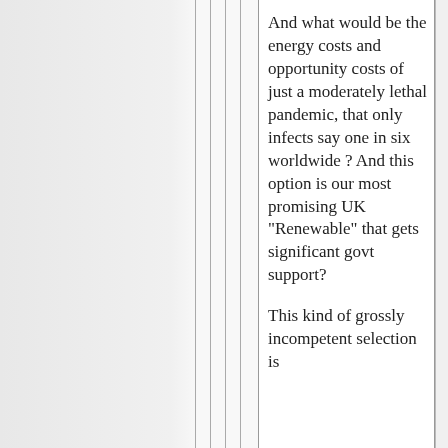And what would be the energy costs and opportunity costs of just a moderately lethal pandemic, that only infects say one in six worldwide ? And this option is our most promising UK "Renewable" that gets significant govt support?
This kind of grossly incompetent selection is